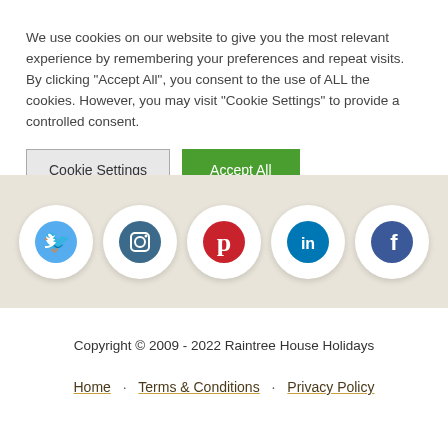We use cookies on our website to give you the most relevant experience by remembering your preferences and repeat visits. By clicking “Accept All”, you consent to the use of ALL the cookies. However, you may visit "Cookie Settings" to provide a controlled consent.
[Figure (infographic): Two buttons: 'Cookie Settings' (gray) and 'Accept All' (green)]
[Figure (infographic): Row of five social media icons on a beige/tan background: Twitter (blue bird), Instagram (camera on dark teal), Pinterest (red P), LinkedIn (blue in), Facebook (dark blue f)]
Copyright © 2009 - 2022 Raintree House Holidays
Home · Terms & Conditions · Privacy Policy